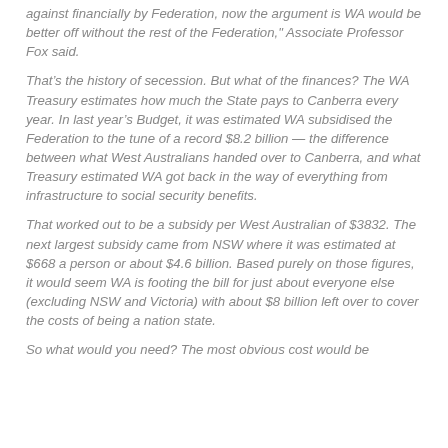against financially by Federation, now the argument is WA would be better off without the rest of the Federation," Associate Professor Fox said.
That's the history of secession. But what of the finances? The WA Treasury estimates how much the State pays to Canberra every year. In last year's Budget, it was estimated WA subsidised the Federation to the tune of a record $8.2 billion — the difference between what West Australians handed over to Canberra, and what Treasury estimated WA got back in the way of everything from infrastructure to social security benefits.
That worked out to be a subsidy per West Australian of $3832. The next largest subsidy came from NSW where it was estimated at $668 a person or about $4.6 billion. Based purely on those figures, it would seem WA is footing the bill for just about everyone else (excluding NSW and Victoria) with about $8 billion left over to cover the costs of being a nation state.
So what would you need? The most obvious cost would be